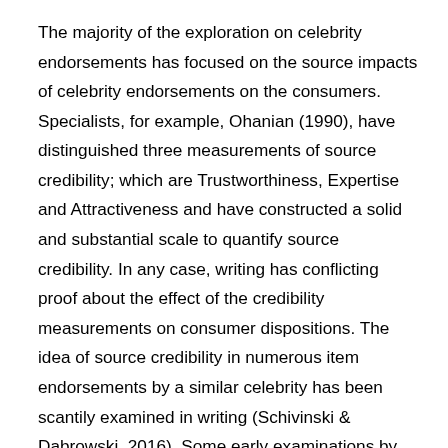The majority of the exploration on celebrity endorsements has focused on the source impacts of celebrity endorsements on the consumers. Specialists, for example, Ohanian (1990), have distinguished three measurements of source credibility; which are Trustworthiness, Expertise and Attractiveness and have constructed a solid and substantial scale to quantify source credibility. In any case, writing has conflicting proof about the effect of the credibility measurements on consumer dispositions. The idea of source credibility in numerous item endorsements by a similar celebrity has been scantily examined in writing (Schivinski & Dabrowski, 2016). Some early examinations by Mowen & Brown (1981) proposed that just learning about a celebrity with numerous item endorsements could disintegrate consumers' impression of the celebrity's credibility and in the meantime adversely influence brand and advertisement assessments. In their observational examination, Um (2008) further observed that numerous endorsements by a similar celebrity to adversely impacts consumers' impression of their credibility and agreeability and also state of mind toward the